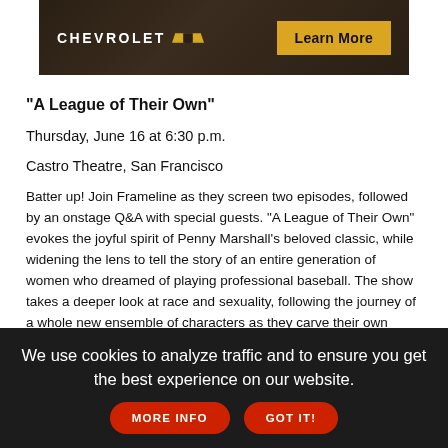[Figure (other): Chevrolet advertisement banner with dark wood-grain background, Chevrolet logo with gold bowtie emblem on left, and 'Learn More' button in gold/yellow on right]
"A League of Their Own"
Thursday, June 16 at 6:30 p.m.
Castro Theatre, San Francisco
Batter up! Join Frameline as they screen two episodes, followed by an onstage Q&A with special guests. "A League of Their Own" evokes the joyful spirit of Penny Marshall's beloved classic, while widening the lens to tell the story of an entire generation of women who dreamed of playing professional baseball. The show takes a deeper look at race and sexuality, following the journey of a whole new ensemble of characters as they carve their own paths towards the field, both in the League and outside of it. "A League of Their Own" is from Amazon Studios and Sony Pictures Television in association with Field Trip Productions. Co-Created and Executive
We use cookies to analyze traffic and to ensure you get the best experience on our website.  MORE INFO  GOT IT!